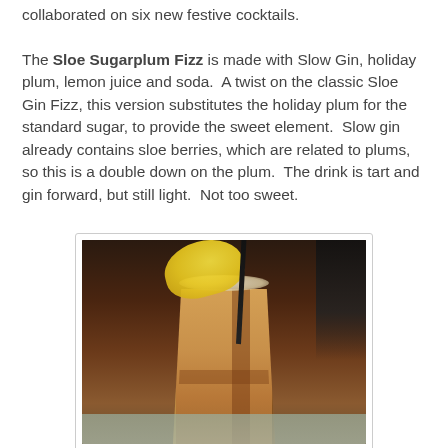collaborated on six new festive cocktails. The Sloe Sugarplum Fizz is made with Slow Gin, holiday plum, lemon juice and soda.  A twist on the classic Sloe Gin Fizz, this version substitutes the holiday plum for the standard sugar, to provide the sweet element.  Slow gin already contains sloe berries, which are related to plums, so this is a double down on the plum.  The drink is tart and gin forward, but still light.  Not too sweet.
[Figure (photo): A tall glass cocktail (the Sloe Sugarplum Fizz) with a golden/amber color, foam on top, a lemon wedge garnish on the rim, and a straw, sitting on a bar counter with a dark bar background.]